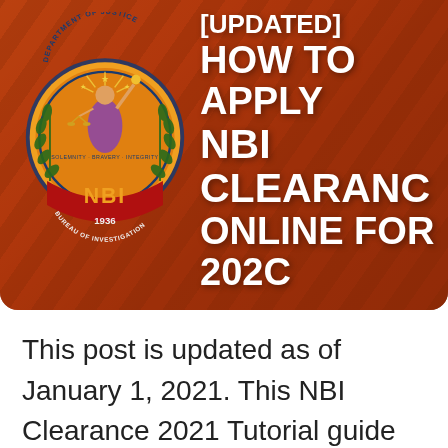[Figure (illustration): Banner image showing the NBI (National Bureau of Investigation) seal/logo on the left against a reddish-orange background with crowd/stairs silhouette, with white bold text reading '[UPDATED] HOW TO APPLY NBI CLEARANCE ONLINE FOR 2020' on the right.]
This post is updated as of January 1, 2021. This NBI Clearance 2021 Tutorial guide will cover the entire